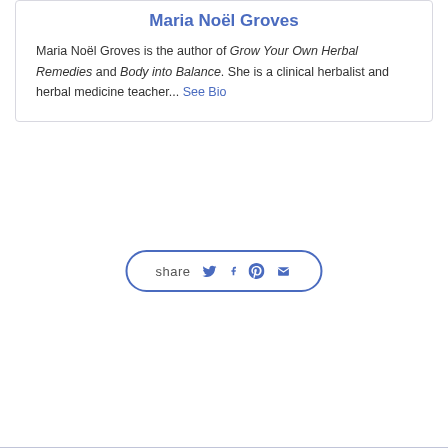Maria Noël Groves
Maria Noël Groves is the author of Grow Your Own Herbal Remedies and Body into Balance. She is a clinical herbalist and herbal medicine teacher... See Bio
[Figure (infographic): Share button with social media icons: Twitter, Facebook, Pinterest, Email, with 'share' label text, inside a rounded rectangle border]